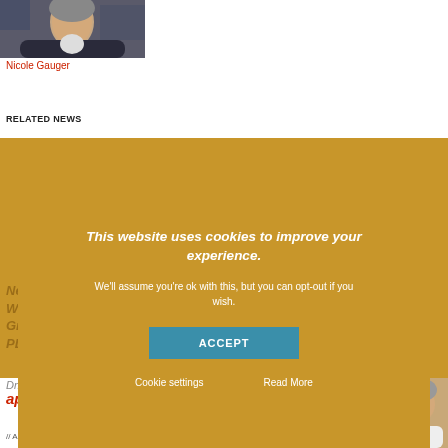[Figure (photo): Headshot photo of Nicole Gauger, a woman in dark clothing]
Nicole Gauger
RELATED NEWS
This website uses cookies to improve your experience.
We'll assume you're ok with this, but you can opt-out if you wish.
ACCEPT
Cookie settings
Read More
Dr. Wolfgang Köstler appointed new CEO
// August 19, 2021